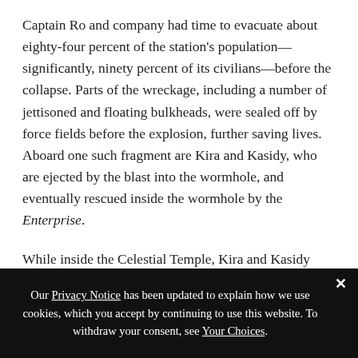Captain Ro and company had time to evacuate about eighty-four percent of the station's population—significantly, ninety percent of its civilians—before the collapse. Parts of the wreckage, including a number of jettisoned and floating bulkheads, were sealed off by force fields before the explosion, further saving lives. Aboard one such fragment are Kira and Kasidy, who are ejected by the blast into the wormhole, and eventually rescued inside the wormhole by the Enterprise.
While inside the Celestial Temple, Kira and Kasidy both have an Orb experience that they're reluctant to discuss afterward. In Kasidy's case, the meaning of the
Our Privacy Notice has been updated to explain how we use cookies, which you accept by continuing to use this website. To withdraw your consent, see Your Choices.